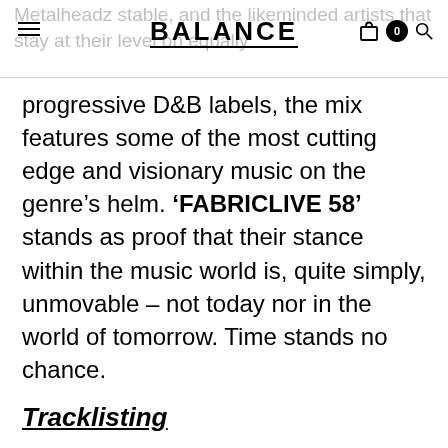BALANCE
progressive D&B labels, the mix features some of the most cutting edge and visionary music on the genre’s helm. ‘FABRICLIVE 58’ stands as proof that their stance within the music world is, quite simply, unmovable – not today nor in the world of tomorrow. Time stands no chance.
Tracklisting
Rido feat. Thomas Oliver – Twisted